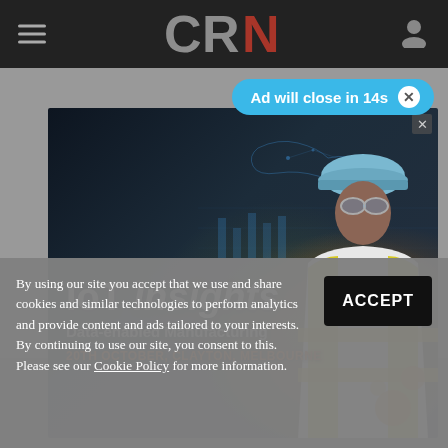CRN navigation bar with hamburger menu and user icon
Ad will close in 14s
[Figure (photo): IoT Insights advertisement banner showing a woman in hard hat and yellow safety vest in an industrial/manufacturing setting with digital data overlay visualizations. Text reads: IoT Insights, Data-enabled Manufacturing, 20TH OCTOBER, CLAYTON, MELBOURNE]
By using our site you accept that we use and share cookies and similar technologies to perform analytics and provide content and ads tailored to your interests. By continuing to use our site, you consent to this. Please see our Cookie Policy for more information.